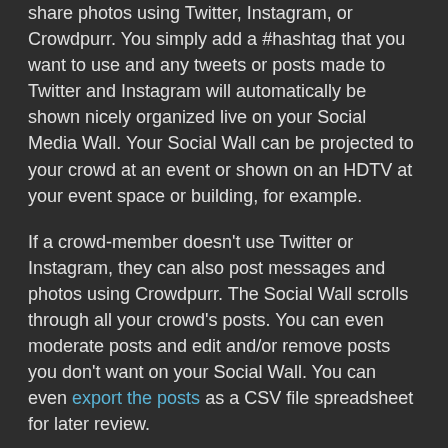share photos using Twitter, Instagram, or Crowdpurr. You simply add a #hashtag that you want to use and any tweets or posts made to Twitter and Instagram will automatically be shown nicely organized live on your Social Media Wall. Your Social Wall can be projected to your crowd at an event or shown on an HDTV at your event space or building, for example.
If a crowd-member doesn't use Twitter or Instagram, they can also post messages and photos using Crowdpurr. The Social Wall scrolls through all your crowd's posts. You can even moderate posts and edit and/or remove posts you don't want on your Social Wall. You can even export the posts as a CSV file spreadsheet for later review.
To learn more about Social Walls, check out the following articles:
Crowdpurr Social Walls Explained